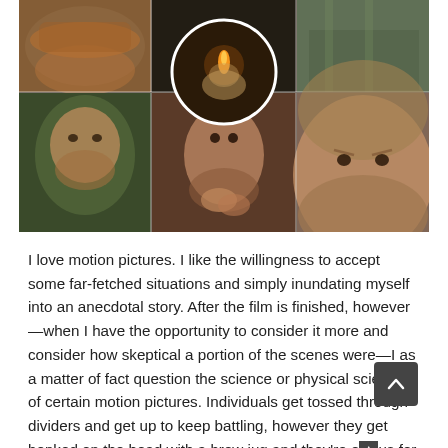[Figure (photo): A collage of movie stills showing actors in survival/wilderness situations. Multiple panels including men with beards in rugged conditions. A circular inset shows a man with a candle/flame. Appears to include scenes from survival films.]
I love motion pictures. I like the willingness to accept some far-fetched situations and simply inundating myself into an anecdotal story. After the film is finished, however—when I have the opportunity to consider it more and consider how skeptical a portion of the scenes were—I as a matter of fact question the science or physical science of certain motion pictures. Individuals get tossed through dividers and get up to keep battling, however they get bonked on the head with a brew jug and they're o[...]us for 60 minutes. In the event that, similar to me, you likewise wonder about such things, you will cherish the YouTube series "Could You Survive the Movies" as of now in its subsequent...